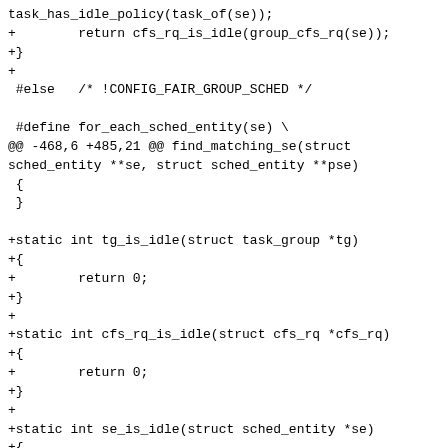task_has_idle_policy(task_of(se));
+        return cfs_rq_is_idle(group_cfs_rq(se));
+}
+
 #else   /* !CONFIG_FAIR_GROUP_SCHED */

 #define for_each_sched_entity(se) \
@@ -468,6 +485,21 @@ find_matching_se(struct sched_entity **se, struct sched_entity **pse)
 {
 }

+static int tg_is_idle(struct task_group *tg)
+{
+        return 0;
+}
+
+static int cfs_rq_is_idle(struct cfs_rq *cfs_rq)
+{
+        return 0;
+}
+
+static int se_is_idle(struct sched_entity *se)
+{
+        return 0;
+}
+
 #endif /* CONFIG_FAIR_GROUP_SCHED */

 static  always_inline